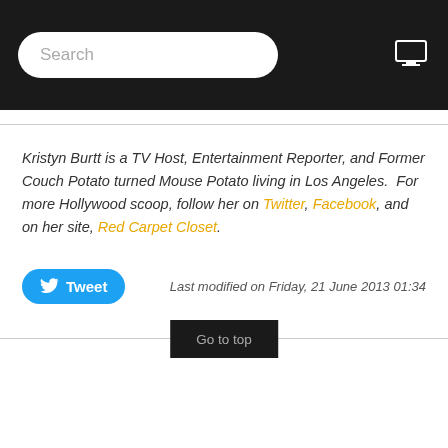Search
Kristyn Burtt is a TV Host, Entertainment Reporter, and Former Couch Potato turned Mouse Potato living in Los Angeles.  For more Hollywood scoop, follow her on Twitter, Facebook, and on her site, Red Carpet Closet.
Tweet   Last modified on Friday, 21 June 2013 01:34
Go to top